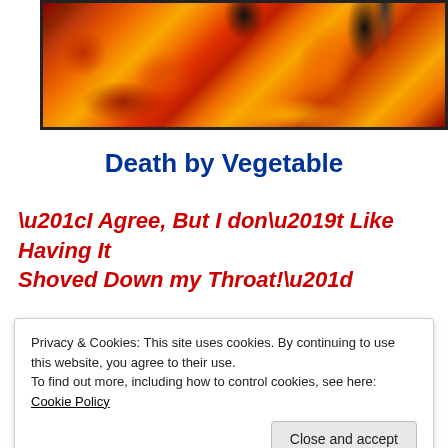[Figure (photo): Fire/flames background image with dark shapes, orange red and yellow tones, framed with dark border at top of page]
Death by Vegetable
“I Agree, But I don’t Like Having It Shoved Down my Throat!”
[Figure (photo): Partial video thumbnail showing dark and golden tones at bottom of page]
Privacy & Cookies: This site uses cookies. By continuing to use this website, you agree to their use.
To find out more, including how to control cookies, see here: Cookie Policy
Close and accept